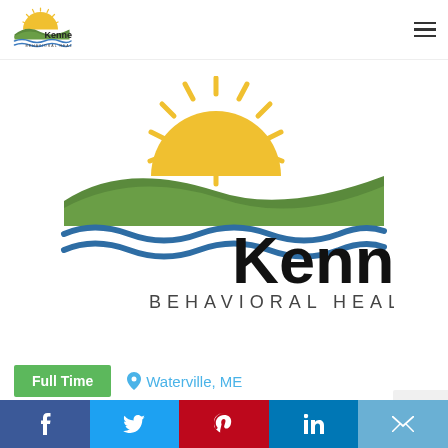[Figure (logo): Kennebec Behavioral Health small logo in header]
[Figure (logo): Kennebec Behavioral Health large center logo with sun, green hills, and blue water waves]
Full Time
Waterville, ME
Posted 3 months ago
This position has been filled